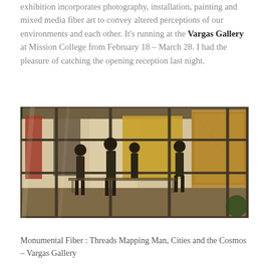exhibition incorporates photography, installation, painting and mixed media fiber art to convey altered perceptions of our environments and each other. It's running at the Vargas Gallery at Mission College from February 18 – March 28. I had the pleasure of catching the opening reception last night.
[Figure (photo): Interior gallery view through large glass windows and metal frames, showing silhouettes of visitors and colorful large-scale fiber art and textile works hung on white walls, with warm golden and earth-toned artwork visible.]
Monumental Fiber : Threads Mapping Man, Cities and the Cosmos – Vargas Gallery